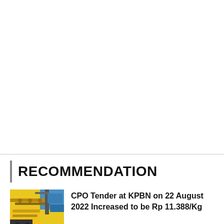RECOMMENDATION
[Figure (photo): Thumbnail photo of industrial/port equipment with yellow and blue colors, showing pipes and cranes]
CPO Tender at KPBN on 22 August 2022 Increased to be Rp 11.388/Kg